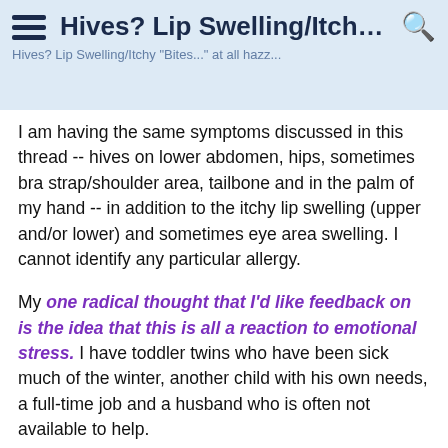Hives? Lip Swelling/Itchy "Bites...
I am having the same symptoms discussed in this thread -- hives on lower abdomen, hips, sometimes bra strap/shoulder area, tailbone and in the palm of my hand -- in addition to the itchy lip swelling (upper and/or lower) and sometimes eye area swelling. I cannot identify any particular allergy.
My one radical thought that I'd like feedback on is the idea that this is all a reaction to emotional stress. I have toddler twins who have been sick much of the winter, another child with his own needs, a full-time job and a husband who is often not available to help.
I was having these symptoms nearly every day in some form or another then went on a tropical vacation for six days with my husband and NO kids. I had NO symptoms for the